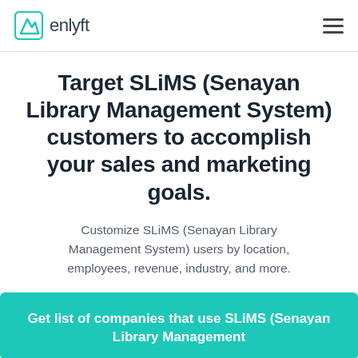enlyft
Target SLiMS (Senayan Library Management System) customers to accomplish your sales and marketing goals.
Customize SLiMS (Senayan Library Management System) users by location, employees, revenue, industry, and more.
Get list of companies that use SLiMS (Senayan Library Management